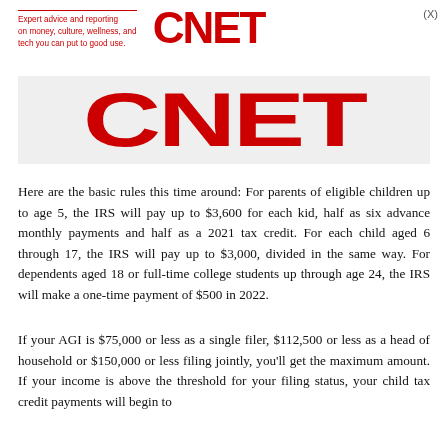Expert advice and reporting on money, culture, wellness, and tech you can put to good use.
[Figure (logo): CNET logo in red bold text]
[Figure (logo): Large CNET banner logo in red on light gray background]
Here are the basic rules this time around: For parents of eligible children up to age 5, the IRS will pay up to $3,600 for each kid, half as six advance monthly payments and half as a 2021 tax credit. For each child aged 6 through 17, the IRS will pay up to $3,000, divided in the same way. For dependents aged 18 or full-time college students up through age 24, the IRS will make a one-time payment of $500 in 2022.
If your AGI is $75,000 or less as a single filer, $112,500 or less as a head of household or $150,000 or less filing jointly, you'll get the maximum amount. If your income is above the threshold for your filing status, your child tax credit payments will begin to